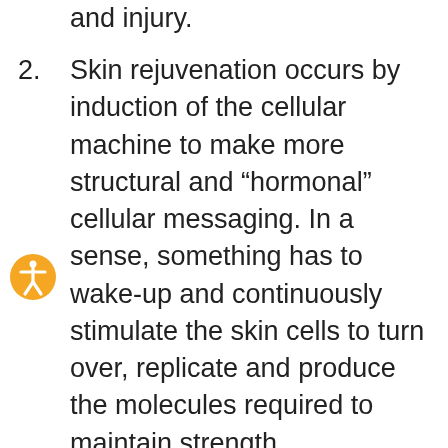and injury.
Skin rejuvenation occurs by induction of the cellular machine to make more structural and “hormonal” cellular messaging. In a sense, something has to wake-up and continuously stimulate the skin cells to turn over, replicate and produce the molecules required to maintain strength, environmental barrier and youthfulness. Once stimulated, by microneedling, the micro-injury or micro-stimulation will produce a cascade of “healing and rejuvenation”